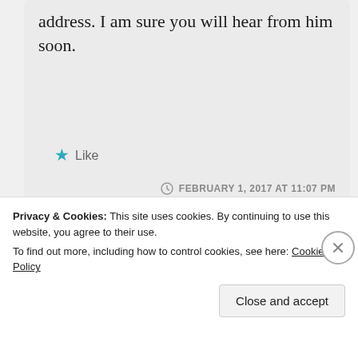address. I am sure you will hear from him soon.
★ Like
FEBRUARY 1, 2017 AT 11:07 PM
↳ REPLY
[Figure (photo): Abstract blue and teal geometric shapes with circular forms on dark blue background, with a pink/magenta horizontal bar near the bottom]
Privacy & Cookies: This site uses cookies. By continuing to use this website, you agree to their use. To find out more, including how to control cookies, see here: Cookie Policy
Close and accept